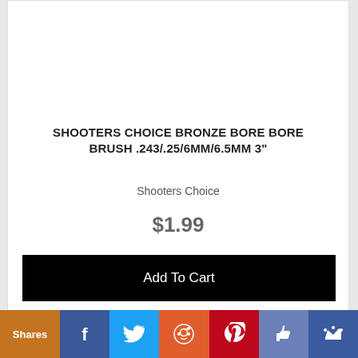SHOOTERS CHOICE BRONZE BORE BRUSH .243/.25/6MM/6.5MM 3"
Shooters Choice
$1.99
Add To Cart
Financing Available
[Figure (photo): Bronze bore brush product image]
Shares